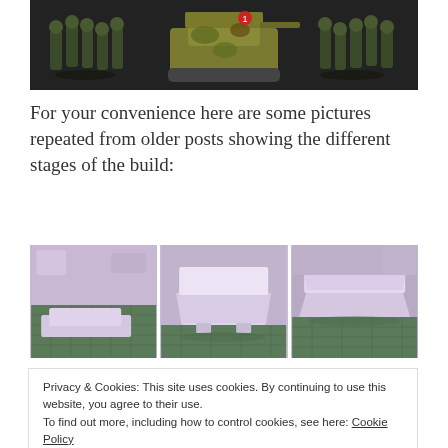[Figure (photo): A row of painted WWII military miniature figures (infantry soldiers) flanking a painted armored vehicle/tank, displayed on a dark background.]
For your convenience here are some pictures repeated from older posts showing the different stages of the build:
[Figure (photo): Three side-by-side photos showing different stages of building a foam/styrene model bunker or terrain piece. The pieces are lavender/pink foam shapes on a cutting mat.]
Privacy & Cookies: This site uses cookies. By continuing to use this website, you agree to their use.
To find out more, including how to control cookies, see here: Cookie Policy
[Figure (photo): Two photos at the bottom showing further stages of the foam terrain build, partially visible.]